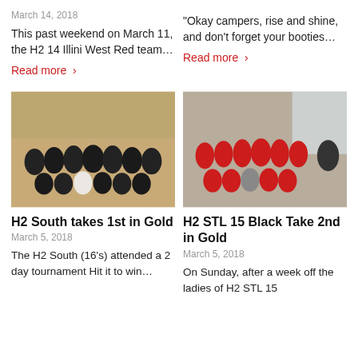March 14, 2018
This past weekend on March 11, the H2 14 Illini West Red team…
Read more ›
“Okay campers, rise and shine, and don’t forget your booties…
Read more ›
[Figure (photo): Group photo of youth volleyball team in black uniforms on gym floor]
H2 South takes 1st in Gold
March 5, 2018
The H2 South (16’s) attended a 2 day tournament Hit it to win…
[Figure (photo): Group photo of youth volleyball team in red uniforms indoors]
H2 STL 15 Black Take 2nd in Gold
March 5, 2018
On Sunday, after a week off the ladies of H2 STL 15